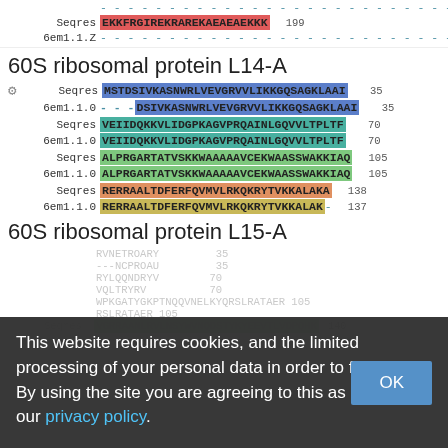6em1.1.Z  - - - - - - - - - - - - - - - - - - - - - - - - - - - - - - - - - -
Seqres  EKKFRGIREKRAREKAEAEAEKKK  199
6em1.1.Z  - - - - - - - - - - - - - - - - -
60S ribosomal protein L14-A
Seqres MSTDSIVKASNWRLVEVGRVVLIKKGQSAGKLAAI 35
6em1.1.0 ---DSIVKASNWRLVEVGRVVLIKKGQSAGKLAAI 35
Seqres VEIIDQKKVLIDGPKAGVPRQAINLGQVVLTPLTF 70
6em1.1.0 VEIIDQKKVLIDGPKAGVPRQAINLGQVVLTPLTF 70
Seqres ALPRGARTATVSKKWAAAААVCEKWAASSWAKKIAQ 105
6em1.1.0 ALPRGARTATVSKKWAAAАAVCEKWAASSWAKKIAQ 105
Seqres RERRAALTDFERFQVMVLRKQKRYTVKKALAKA 138
6em1.1.0 RERRAALTDFERFQVMVLRKQKRYTVKKALAK- 137
60S ribosomal protein L15-A
[Figure (screenshot): Cookie consent overlay covering lower portion of page with text about cookies and personal data processing, with OK button]
Seqres VGRRAANLRVLNSYWVNQDSTYKYEEVTLVDPQHK 140